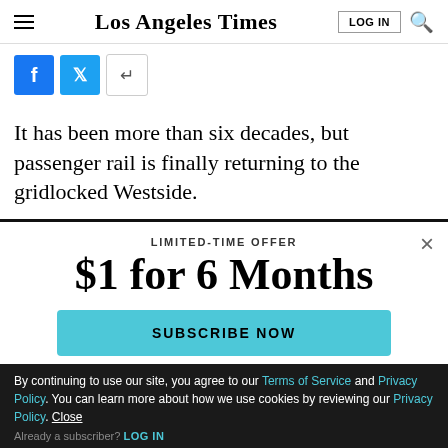Los Angeles Times
[Figure (screenshot): Social share buttons: Facebook (blue), Twitter (blue), and a generic share icon]
It has been more than six decades, but passenger rail is finally returning to the gridlocked Westside.
LIMITED-TIME OFFER
$1 for 6 Months
SUBSCRIBE NOW
By continuing to use our site, you agree to our Terms of Service and Privacy Policy. You can learn more about how we use cookies by reviewing our Privacy Policy. Close
Already a subscriber? LOG IN